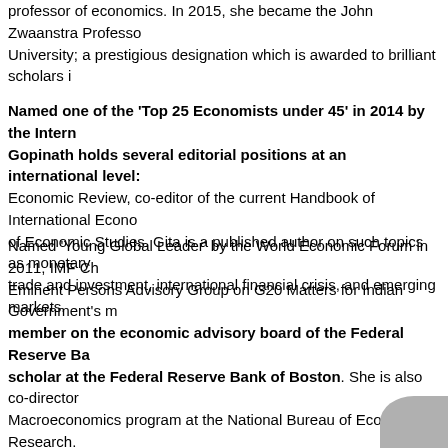professor of economics. In 2015, she became the John Zwaanstra Professor University; a prestigious designation which is awarded to brilliant scholars i
Named one of the 'Top 25 Economists under 45' in 2014 by the International Monetary Fund. Gopinath holds several editorial positions at an international level: Economic Review, co-editor of the current Handbook of International Economics, and a co-editor of Economic Studies. Gita is a published author on such topics as monetary policy, international trade and investment, international financial crisis, and emerging markets.
Named 'Young Global Leader' by the World Economic Forum in 2011, IMF Chief Economist and Eminent Persons Advisory Group on G20 Matters for Indian Government's ministry of Finance, member on the economic advisory board of the Federal Reserve Bank of Dallas and a visiting scholar at the Federal Reserve Bank of Boston. She is also co-director of the International Macroeconomics program at the National Bureau of Economic Research.